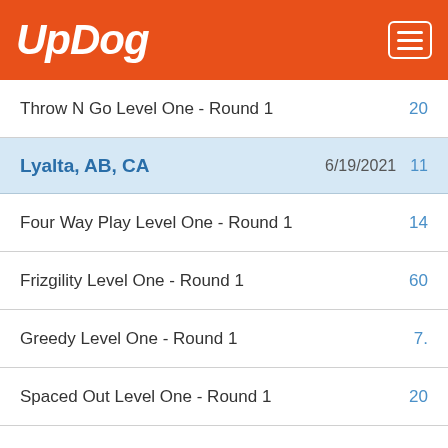UpDog
Throw N Go Level One - Round 1 | 20
Lyalta, AB, CA | 6/19/2021 | 11
Four Way Play Level One - Round 1 | 14
Frizgility Level One - Round 1 | 60
Greedy Level One - Round 1 | 7.
Spaced Out Level One - Round 1 | 20
Time Warp Level One - Round 1 | 10
Lyalta, AB, CA | 6/18/2021 | 10
Frizgility Level One - Round 1 | 95
Time Warp Level One - Round 1 | 10
Edmonton, AB, CA | 10/12/2020 | 8